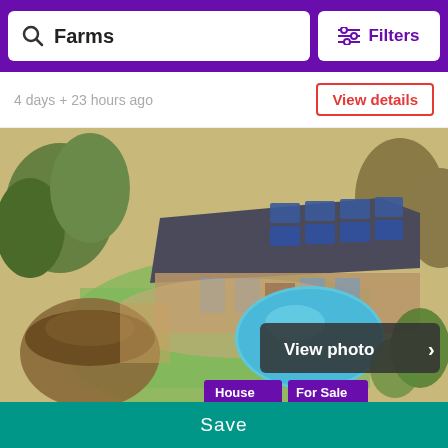Farms  |  Filters
4 days + 23 hours ago
View details
[Figure (photo): Aerial view of a residential property with a swimming pool, thatched rondavel, green lawn, and solar panels on the main house roof. Tags: House, For Sale. View photo button visible.]
Residential For Sale Sedibenggauteng South Africa
R 8 995 000
Save